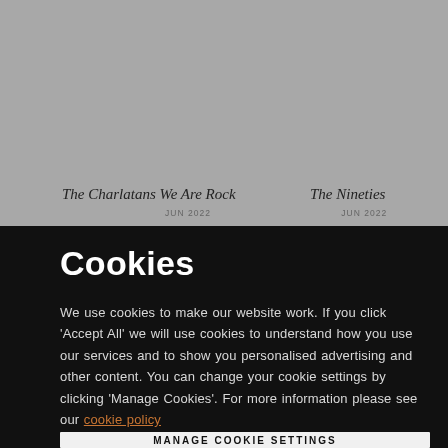[Figure (photo): Grey background image area showing two partially visible record/album cover thumbnails]
The Charlatans We Are Rock
The Nineties
Cookies
We use cookies to make our website work. If you click 'Accept All' we will use cookies to understand how you use our services and to show you personalised advertising and other content. You can change your cookie settings by clicking 'Manage Cookies'. For more information please see our cookie policy
MANAGE COOKIE SETTINGS